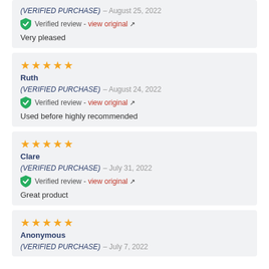(VERIFIED PURCHASE) – August 25, 2022
Verified review - view original
Very pleased
★★★★★
Ruth
(VERIFIED PURCHASE) – August 24, 2022
Verified review - view original
Used before highly recommended
★★★★★
Clare
(VERIFIED PURCHASE) – July 31, 2022
Verified review - view original
Great product
★★★★★
Anonymous
(VERIFIED PURCHASE) – July 7, 2022